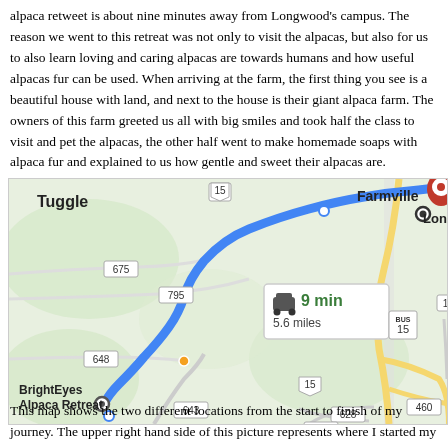alpaca retweet is about nine minutes away from Longwood's campus. The reason we went to this retreat was not only to visit the alpacas, but also for us to also learn how loving and caring alpacas are towards humans and how useful alpacas fur can be used. When arriving at the farm, the first thing you see is a beautiful house with land, and next to the house is their giant alpaca farm. The owners of this farm greeted us all with big smiles and took half the class to visit and pet the alpacas, the other half went to make homemade soaps with alpaca fur and explained to us how gentle and sweet their alpacas are.
[Figure (map): Google Maps screenshot showing driving route from BrightEyes Alpaca Retreat to Farmville / Longwood University. Route shown in blue, distance 5.6 miles, travel time 9 min. Route passes through roads 643, 795, 675, 15, 648, 628, 460, 100. Map labels include Tuggle (upper left), Farmville and Longwood (upper right), BrightEyes Alpaca Retreat (lower left). Popup shows car icon, '9 min', '5.6 miles'.]
This map shows the two different locations from the start to finish of my journey. The upper right hand side of this picture represents where I started my journey, and...